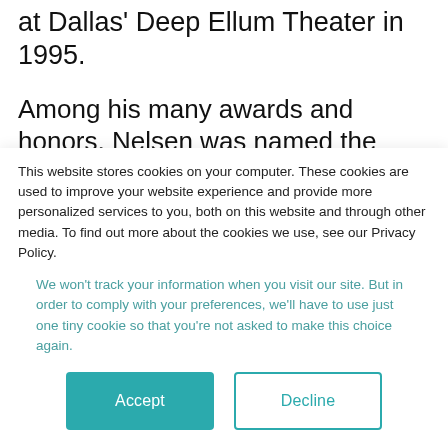at Dallas' Deep Ellum Theater in 1995.
Among his many awards and honors, Nelsen was named the 2014 Man of the Year by the Rio Grande Valley Hispanic Chamber of Commerce and received a Literacy Champion award from the South Texas Literacy Coalition in 2012. This spring, the Edinburg City Council unanimously
This website stores cookies on your computer. These cookies are used to improve your website experience and provide more personalized services to you, both on this website and through other media. To find out more about the cookies we use, see our Privacy Policy.
We won't track your information when you visit our site. But in order to comply with your preferences, we'll have to use just one tiny cookie so that you're not asked to make this choice again.